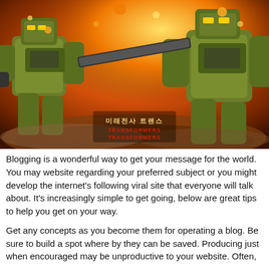[Figure (illustration): Action scene illustration of two large green and black mecha/transformer robots fighting amid fire and smoke explosions. Korean text and 'TRANSFORMERS' logo visible in the center-lower portion of the image.]
Blogging is a wonderful way to get your message for the world. You may website regarding your preferred subject or you might develop the internet's following viral site that everyone will talk about. It's increasingly simple to get going, below are great tips to help you get on your way.
Get any concepts as you become them for operating a blog. Be sure to build a spot where by they can be saved. Producing just when encouraged may be unproductive to your website. Often,